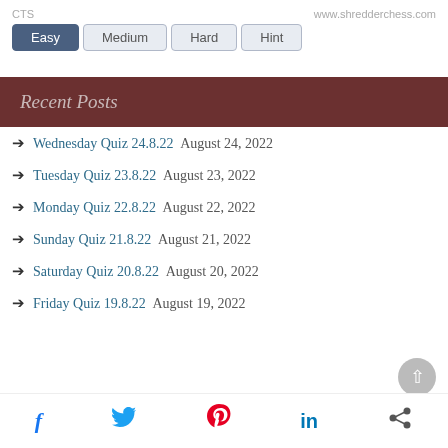CTS   www.shredderchess.com
Easy
Medium
Hard
Hint
Recent Posts
Wednesday Quiz 24.8.22 August 24, 2022
Tuesday Quiz 23.8.22 August 23, 2022
Monday Quiz 22.8.22 August 22, 2022
Sunday Quiz 21.8.22 August 21, 2022
Saturday Quiz 20.8.22 August 20, 2022
Friday Quiz 19.8.22 August 19, 2022